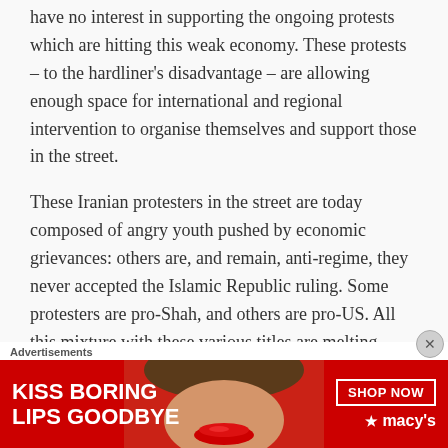have no interest in supporting the ongoing protests which are hitting this weak economy. These protests – to the hardliner's disadvantage – are allowing enough space for international and regional intervention to organise themselves and support those in the street.
These Iranian protesters in the street are today composed of angry youth pushed by economic grievances: others are, and remain, anti-regime, they never accepted the Islamic Republic ruling. Some protesters are pro-Shah, and others are pro-US. All this mixture with these various titles are melting
Advertisements
[Figure (photo): Advertisement banner for Macy's lipstick product with text 'KISS BORING LIPS GOODBYE' and 'SHOP NOW' button with Macy's star logo, featuring a woman's face with red lips]